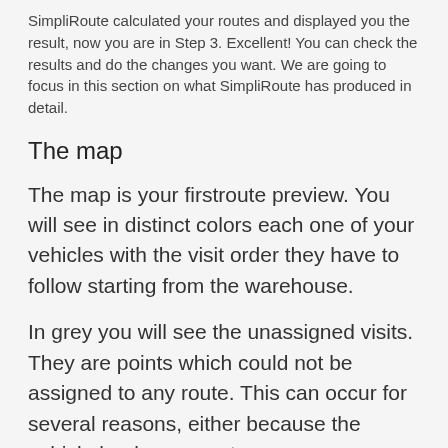SimpliRoute calculated your routes and displayed you the result, now you are in Step 3. Excellent! You can check the results and do the changes you want. We are going to focus in this section on what SimpliRoute has produced in detail.
The map
The map is your firstroute preview. You will see in distinct colors each one of your vehicles with the visit order they have to follow starting from the warehouse.
In grey you will see the unassigned visits. They are points which could not be assigned to any route. This can occur for several reasons, either because the vehicle loads were not